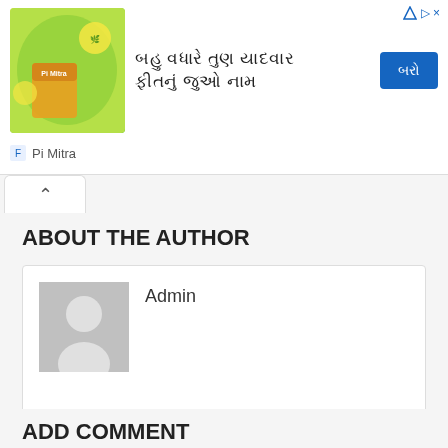[Figure (infographic): Advertisement banner with a green/yellow themed product image (Pi Mitra fertilizer), Gujarati text headline, and a blue call-to-action button. Footer shows Pi Mitra brand logo and name.]
ABOUT THE AUTHOR
[Figure (photo): Default grey user avatar silhouette placeholder image]
Admin
ADD COMMENT